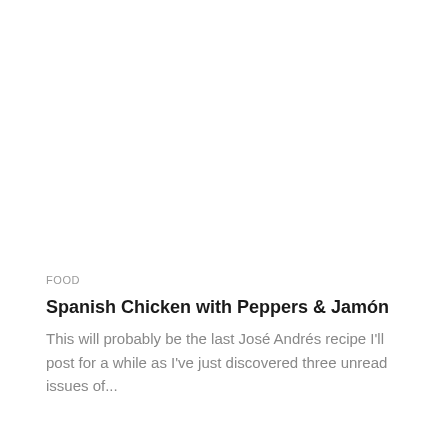FOOD
Spanish Chicken with Peppers & Jamón
This will probably be the last José Andrés recipe I'll post for a while as I've just discovered three unread issues of...